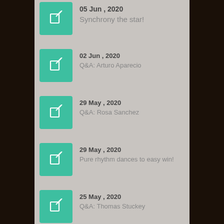05 Jun , 2020 — Synchrony the star!
02 Jun , 2020 — Q&A: Arturo Aparecio
29 May , 2020 — Q&A: Rosa Sanchez
29 May , 2020 — Pure rhythm dances to easy win!
25 May , 2020 — Q&A: Thomas Stuckey
25 May , 2020 — (partial)